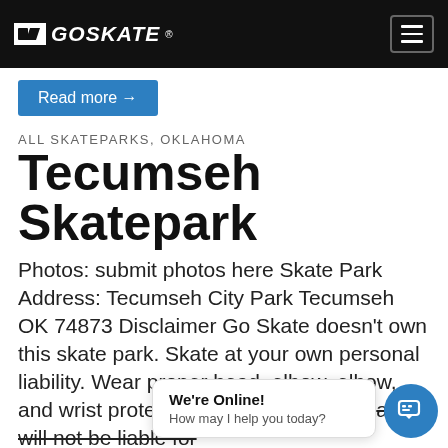GOSKATE
Read more →
ALL SKATEPARKS, OKLAHOMA
Tecumseh Skatepark
Photos: submit photos here Skate Park Address: Tecumseh City Park Tecumseh OK 74873 Disclaimer Go Skate doesn't own this skate park. Skate at your own personal liability. Wear proper head, elbow, elbow, and wrist protection at all times. Go Skate will not be liable for injury at these... about detailed regulations...
We're Online! How may I help you today?